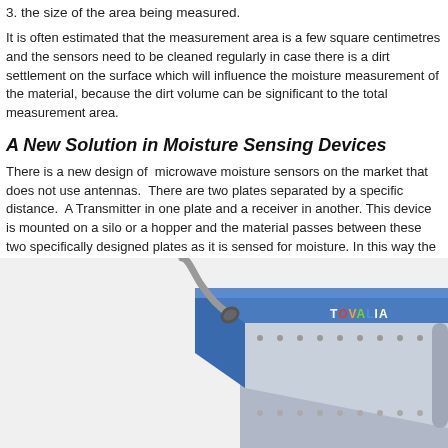3. the size of the area being measured.
It is often estimated that the measurement area is a few square centimetres and the sensors need to be cleaned regularly in case there is a dirt settlement on the surface which will influence the moisture measurement of the material, because the dirt volume can be significant to the total measurement area.
A New Solution in Moisture Sensing Devices
There is a new design of microwave moisture sensors on the market that does not use antennas. There are two plates separated by a specific distance. A Transmitter in one plate and a receiver in another. This device is mounted on a silo or a hopper and the material passes between these two specifically designed plates as it is sensed for moisture. In this way the measurement area is known.
[Figure (photo): Photo of a TOVALIA moisture sensing device — a blue and silver rectangular instrument with a cable connector, showing the top and front face with the TOVALIA logo.]